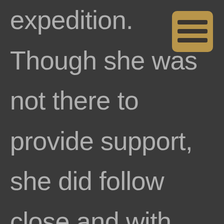expedition. Though she was not there to provide support, she did follow close and with state of the art
[Figure (illustration): A golden/tan colored document or menu icon with three horizontal lines on a rounded rectangle background]